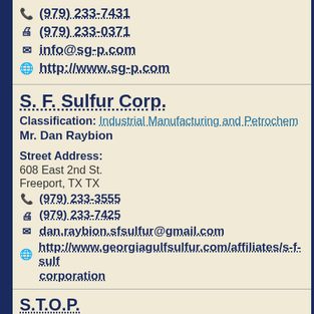(979) 233-7431
(979) 233-0371
info@sg-p.com
http://www.sg-p.com
S. F. Sulfur Corp.
Classification: Industrial Manufacturing and Petrochem
Mr. Dan Raybion
Street Address:
608 East 2nd St.
Freeport, TX TX
(979) 233-3555
(979) 233-7425
dan.raybion.sfsulfur@gmail.com
http://www.georgiagulfsulfur.com/affiliates/s-f-sulfur-corporation
S.T.O.P.
Classification: Education